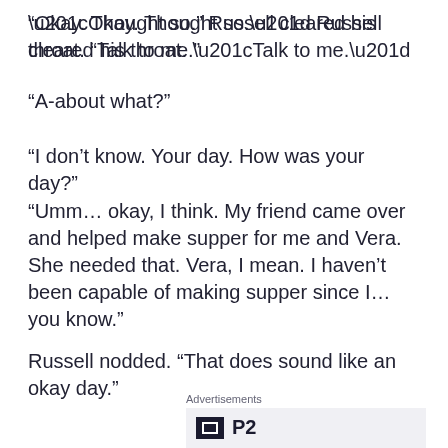“Okay. Thought so.” Russell cleared his throat. “Talk to me.”
“A-about what?”
“I don’t know. Your day. How was your day?”
“Umm… okay, I think. My friend came over and helped make supper for me and Vera. She needed that. Vera, I mean. I haven’t been capable of making supper since I… you know.”
Russell nodded. “That does sound like an okay day.”
Advertisements
[Figure (logo): P2 logo: black square with white border square inside, followed by bold text 'P2']